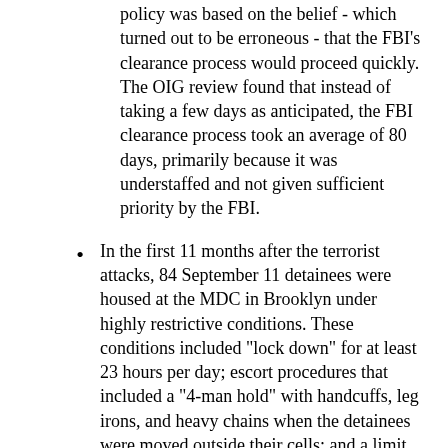policy was based on the belief - which turned out to be erroneous - that the FBI's clearance process would proceed quickly. The OIG review found that instead of taking a few days as anticipated, the FBI clearance process took an average of 80 days, primarily because it was understaffed and not given sufficient priority by the FBI.
In the first 11 months after the terrorist attacks, 84 September 11 detainees were housed at the MDC in Brooklyn under highly restrictive conditions. These conditions included "lock down" for at least 23 hours per day; escort procedures that included a "4-man hold" with handcuffs, leg irons, and heavy chains when the detainees were moved outside their cells; and a limit of one legal telephone call per week and one social call per month.
BOP officials imposed a